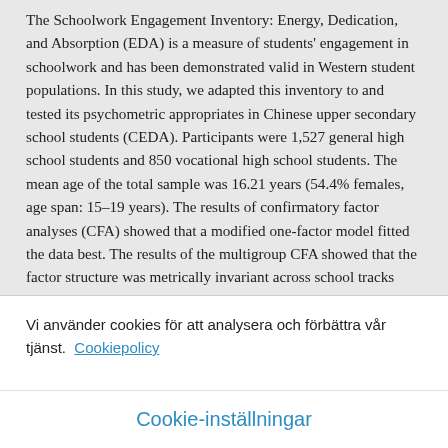The Schoolwork Engagement Inventory: Energy, Dedication, and Absorption (EDA) is a measure of students' engagement in schoolwork and has been demonstrated valid in Western student populations. In this study, we adapted this inventory to and tested its psychometric appropriates in Chinese upper secondary school students (CEDA). Participants were 1,527 general high school students and 850 vocational high school students. The mean age of the total sample was 16.21 years (54.4% females, age span: 15–19 years). The results of confirmatory factor analyses (CFA) showed that a modified one-factor model fitted the data best. The results of the multigroup CFA showed that the factor structure was metrically invariant across school tracks (i.e., general or vocational high school) and scalarly invariant across gender and school types (i.e., ordinary or key school). Moreover, schoolwork engagement was
Vi använder cookies för att analysera och förbättra vår tjänst. Cookiepolicy
Cookie-inställningar